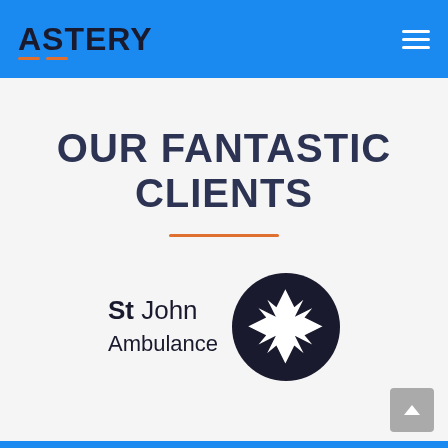ASTERY
OUR FANTASTIC CLIENTS
[Figure (logo): St John Ambulance logo: text 'St John Ambulance' beside a black circle containing a white Maltese cross]